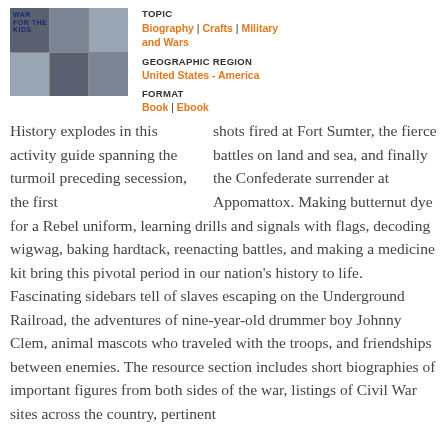[Figure (photo): Book cover for a Civil War activity guide for kids, showing historical photos in a grid layout]
TOPIC
Biography | Crafts | Military and Wars
GEOGRAPHIC REGION
United States - America
FORMAT
Book | Ebook
History explodes in this activity guide spanning the turmoil preceding secession, the first shots fired at Fort Sumter, the fierce battles on land and sea, and finally the Confederate surrender at Appomattox. Making butternut dye for a Rebel uniform, learning drills and signals with flags, decoding wigwag, baking hardtack, reenacting battles, and making a medicine kit bring this pivotal period in our nation’s history to life. Fascinating sidebars tell of slaves escaping on the Underground Railroad, the adventures of nine-year-old drummer boy Johnny Clem, animal mascots who traveled with the troops, and friendships between enemies. The resource section includes short biographies of important figures from both sides of the war, listings of Civil War sites across the country, pertinent